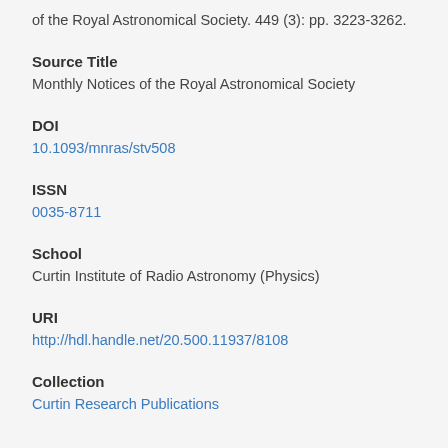of the Royal Astronomical Society. 449 (3): pp. 3223-3262.
Source Title
Monthly Notices of the Royal Astronomical Society
DOI
10.1093/mnras/stv508
ISSN
0035-8711
School
Curtin Institute of Radio Astronomy (Physics)
URI
http://hdl.handle.net/20.500.11937/8108
Collection
Curtin Research Publications